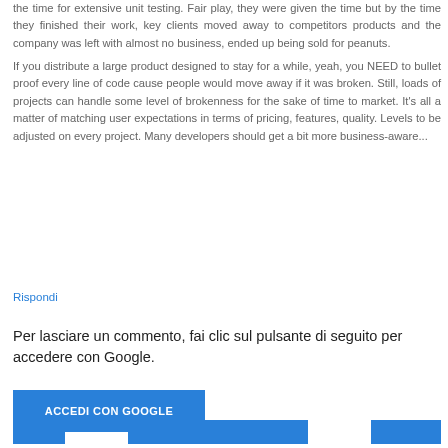the time for extensive unit testing. Fair play, they were given the time but by the time they finished their work, key clients moved away to competitors products and the company was left with almost no business, ended up being sold for peanuts.
If you distribute a large product designed to stay for a while, yeah, you NEED to bullet proof every line of code cause people would move away if it was broken. Still, loads of projects can handle some level of brokenness for the sake of time to market. It's all a matter of matching user expectations in terms of pricing, features, quality. Levels to be adjusted on every project. Many developers should get a bit more business-aware...
Rispondi
Per lasciare un commento, fai clic sul pulsante di seguito per accedere con Google.
ACCEDI CON GOOGLE